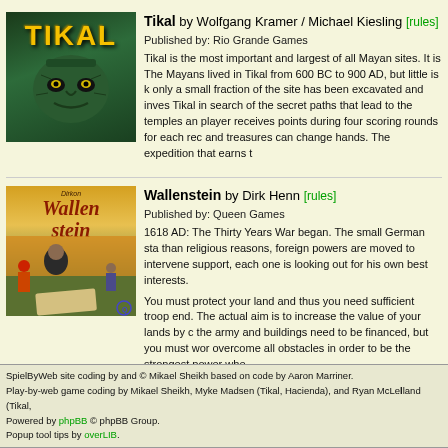[Figure (illustration): Tikal board game cover art showing a green Mayan stone face with yellow eyes and the word TIKAL in yellow letters at top]
Tikal by Wolfgang Kramer / Michael Kiesling [rules]
Published by: Rio Grande Games

Tikal is the most important and largest of all Mayan sites. It is The Mayans lived in Tikal from 600 BC to 900 AD, but little is k only a small fraction of the site has been excavated and inves Tikal in search of the secret paths that lead to the temples an player receives points during four scoring rounds for each rec and treasures can change hands. The expedition that earns t
[Figure (illustration): Wallenstein board game cover art showing a man in 17th century armor looking at a map, with soldiers and a battle scene in background]
Wallenstein by Dirk Henn [rules]
Published by: Queen Games

1618 AD: The Thirty Years War began. The small German sta than religious reasons, foreign powers are moved to intervene support, each one is looking out for his own best interests.

You must protect your land and thus you need sufficient troop end. The actual aim is to increase the value of your lands by c the army and buildings need to be financed, but you must wor overcome all obstacles in order to be the strongest power whe
SpielByWeb site coding by and © Mikael Sheikh based on code by Aaron Marriner.
Play-by-web game coding by Mikael Sheikh, Myke Madsen (Tikal, Hacienda), and Ryan McLelland (Tikal,
Powered by phpBB © phpBB Group.
Popup tool tips by overLIB.